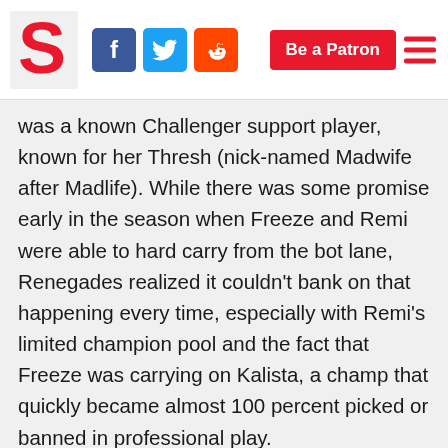Slingshot Esports — Be a Patron
was a known Challenger support player, known for her Thresh (nick-named Madwife after Madlife). While there was some promise early in the season when Freeze and Remi were able to hard carry from the bot lane, Renegades realized it couldn't bank on that happening every time, especially with Remi's limited champion pool and the fact that Freeze was carrying on Kalista, a champ that quickly became almost 100 percent picked or banned in professional play.
On top of that, Remi had expressed doubts of her being interested in playing in the LCS for a long time, explaining that she suffers from extreme